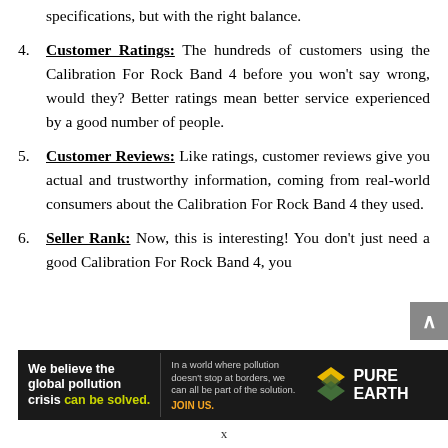specifications, but with the right balance.
4. Customer Ratings: The hundreds of customers using the Calibration For Rock Band 4 before you won't say wrong, would they? Better ratings mean better service experienced by a good number of people.
5. Customer Reviews: Like ratings, customer reviews give you actual and trustworthy information, coming from real-world consumers about the Calibration For Rock Band 4 they used.
6. Seller Rank: Now, this is interesting! You don't just need a good Calibration For Rock Band 4, you
[Figure (infographic): Pure Earth advertisement banner with black background. Left side: 'We believe the global pollution crisis can be solved.' in white and green text. Middle: 'In a world where pollution doesn't stop at borders, we can all be part of the solution. JOIN US.' in grey and orange. Right side: Pure Earth logo with diamond/leaf icon and 'PURE EARTH' text in white.]